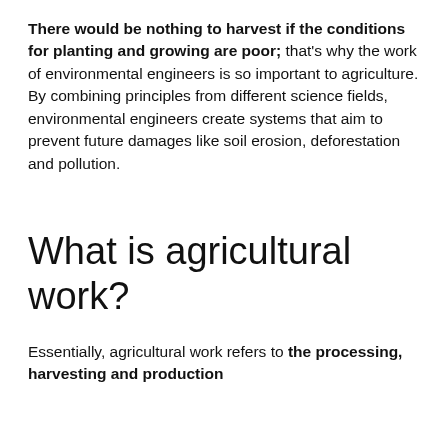There would be nothing to harvest if the conditions for planting and growing are poor; that's why the work of environmental engineers is so important to agriculture. By combining principles from different science fields, environmental engineers create systems that aim to prevent future damages like soil erosion, deforestation and pollution.
What is agricultural work?
Essentially, agricultural work refers to the processing, harvesting and production